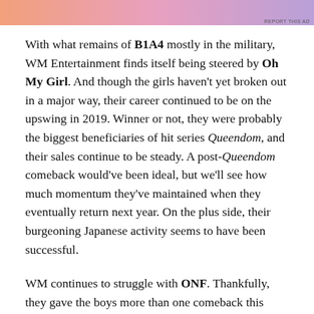[Figure (other): Advertisement banner with gradient colors (orange, pink, purple)]
With what remains of B1A4 mostly in the military, WM Entertainment finds itself being steered by Oh My Girl. And though the girls haven't yet broken out in a major way, their career continued to be on the upswing in 2019. Winner or not, they were probably the biggest beneficiaries of hit series Queendom, and their sales continue to be steady. A post-Queendom comeback would've been ideal, but we'll see how much momentum they've maintained when they eventually return next year. On the plus side, their burgeoning Japanese activity seems to have been successful.
WM continues to struggle with ONF. Thankfully, they gave the boys more than one comeback this year, but the unexpected departure of Laun (arguably, their most popular member) shocked and dismayed fans. Their sales are steady, but they